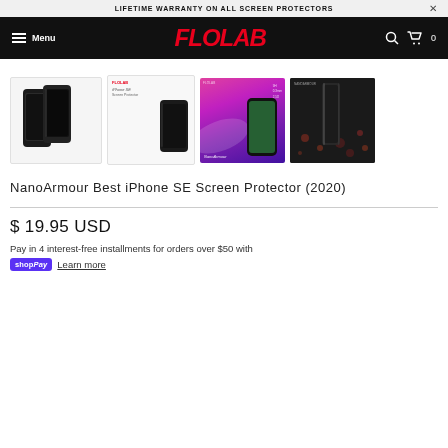LIFETIME WARRANTY ON ALL SCREEN PROTECTORS  ×
Menu  FLOLAB  🔍  🛒 0
[Figure (photo): Four product thumbnail images of NanoArmour iPhone SE screen protector: (1) two black phones with screen protector against white background, (2) product sheet/spec page with phone, (3) colorful gradient marketing image with product features, (4) dark dramatic product image]
NanoArmour Best iPhone SE Screen Protector (2020)
$ 19.95 USD
Pay in 4 interest-free installments for orders over $50 with
shopPay  Learn more